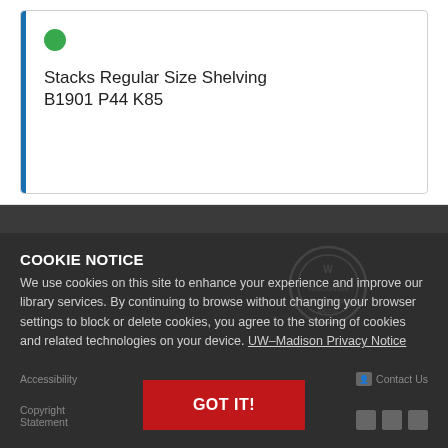Stacks Regular Size Shelving
B1901 P44 K85
COOKIE NOTICE
We use cookies on this site to enhance your experience and improve our library services. By continuing to browse without changing your browser settings to block or delete cookies, you agree to the storing of cookies and related technologies on your device. UW–Madison Privacy Notice
Accessibility
Contact Us
GOT IT!
Copyright Statement